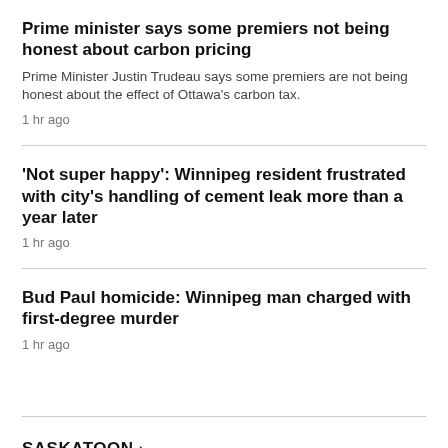Prime minister says some premiers not being honest about carbon pricing
Prime Minister Justin Trudeau says some premiers are not being honest about the effect of Ottawa's carbon tax.
1 hr ago
'Not super happy': Winnipeg resident frustrated with city's handling of cement leak more than a year later
1 hr ago
Bud Paul homicide: Winnipeg man charged with first-degree murder
1 hr ago
SASKATOON >